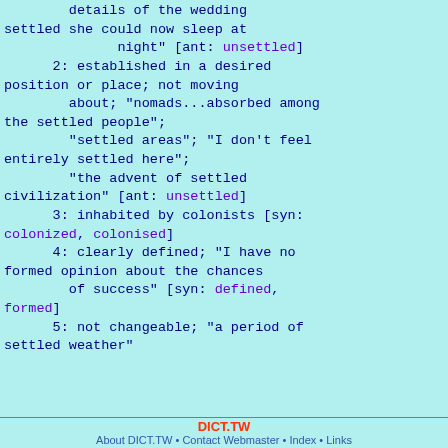details of the wedding settled she could now sleep at night" [ant: unsettled]
      2: established in a desired position or place; not moving about; "nomads...absorbed among the settled people"; "settled areas"; "I don't feel entirely settled here"; "the advent of settled civilization" [ant: unsettled]
      3: inhabited by colonists [syn: colonized, colonised]
      4: clearly defined; "I have no formed opinion about the chances of success" [syn: defined, formed]
      5: not changeable; "a period of settled weather"
DICT.TW
About DICT.TW • Contact Webmaster • Index • Links